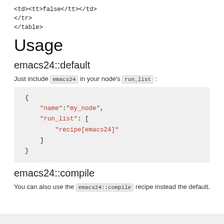<td><tt>false</tt></td>
</tr>
</table>
Usage
emacs24::default
Just include emacs24 in your node's run_list :
{
    "name":"my_node",
    "run_list": [
        "recipe[emacs24]"
    ]
}
emacs24::compile
You can also use the emacs24::compile recipe instead the default.